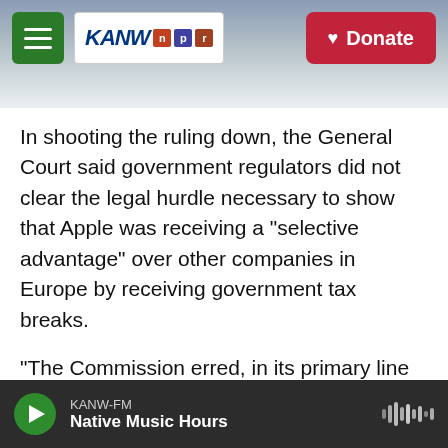KANW NPR — Donate
In shooting the ruling down, the General Court said government regulators did not clear the legal hurdle necessary to show that Apple was receiving a "selective advantage" over other companies in Europe by receiving government tax breaks.
"The Commission erred, in its primary line of reasoning, in its assessment of the provisions of Irish tax law relating to the taxation of the profits of companies that are not resident in Ireland but which carry on a trade there through a branch," the court wrote.
KANW-FM — Native Music Hours